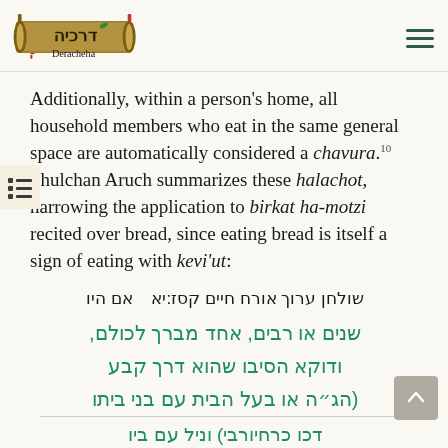Deracheha
Additionally, within a person's home, all household members who eat in the same general space are automatically considered a chavura.10 Shulchan Aruch summarizes these halachot, narrowing the application to birkat ha-motzi recited over bread, since eating bread is itself a sign of eating with kevi'ut:
שולחן ערוך אורח חיים קסז:יא   אם היו שנים או רבים, אחד מברך לכולם, ודוקא הסיבו שהוא דרך קבע (הג״ה או בעל הבית עם בני ביתו דכן כרחיורבי) וניל עם בין
[Figure (logo): Deracheha logo with Hebrew scroll and text]